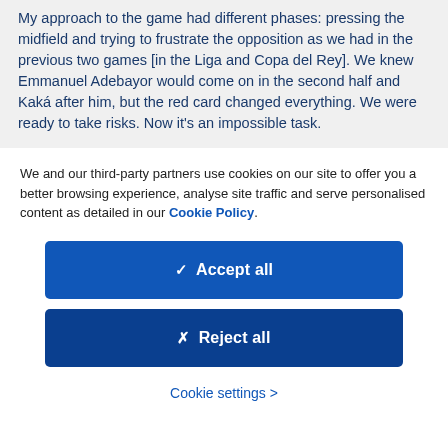My approach to the game had different phases: pressing the midfield and trying to frustrate the opposition as we had in the previous two games [in the Liga and Copa del Rey]. We knew Emmanuel Adebayor would come on in the second half and Kaká after him, but the red card changed everything. We were ready to take risks. Now it's an impossible task.
We and our third-party partners use cookies on our site to offer you a better browsing experience, analyse site traffic and serve personalised content as detailed in our Cookie Policy.
✓  Accept all
✗  Reject all
Cookie settings >